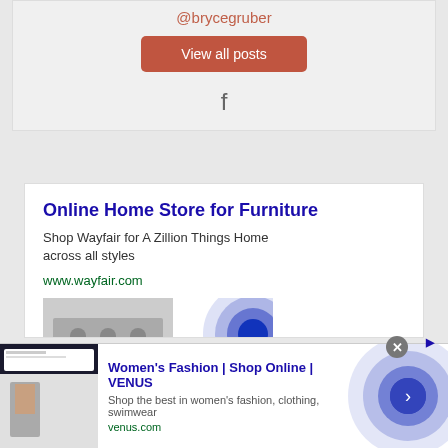@brycegruber
View all posts
[Figure (other): Facebook icon]
[Figure (other): Wayfair ad: Online Home Store for Furniture - Shop Wayfair for A Zillion Things Home across all styles - www.wayfair.com]
[Figure (other): Venus Women's Fashion ad: Shop the best in women's fashion, clothing, swimwear - venus.com]